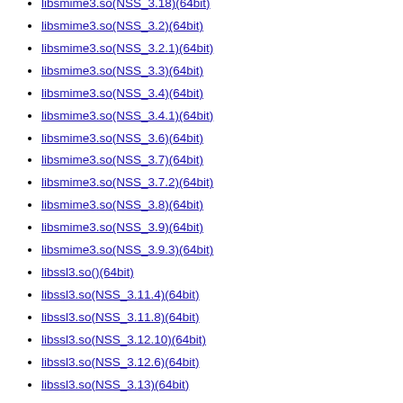libsmime3.so(NSS_3.18)(64bit)
libsmime3.so(NSS_3.2)(64bit)
libsmime3.so(NSS_3.2.1)(64bit)
libsmime3.so(NSS_3.3)(64bit)
libsmime3.so(NSS_3.4)(64bit)
libsmime3.so(NSS_3.4.1)(64bit)
libsmime3.so(NSS_3.6)(64bit)
libsmime3.so(NSS_3.7)(64bit)
libsmime3.so(NSS_3.7.2)(64bit)
libsmime3.so(NSS_3.8)(64bit)
libsmime3.so(NSS_3.9)(64bit)
libsmime3.so(NSS_3.9.3)(64bit)
libssl3.so()(64bit)
libssl3.so(NSS_3.11.4)(64bit)
libssl3.so(NSS_3.11.8)(64bit)
libssl3.so(NSS_3.12.10)(64bit)
libssl3.so(NSS_3.12.6)(64bit)
libssl3.so(NSS_3.13)(64bit)
libssl3.so(NSS_3.13.2)(64bit)
libssl3.so(NSS_3.14)(64bit)
libssl3.so(NSS_3.15)(64bit)
libssl3.so(NSS_3.15.4)(64bit)
libssl3.so(NSS_3.2)(64bit)
libssl3.so(NSS_3.2.1)(64bit)
libssl3.so(NSS_3.20)(64bit)